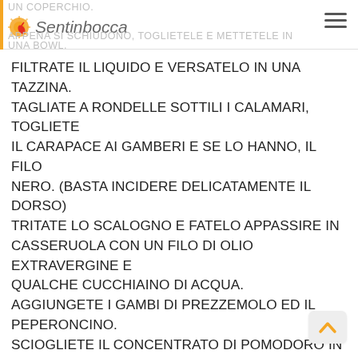UN COPERCHIO. APPENA SI SCHIUDONO, TOGLIETELE E METTETELE IN UNA BOWL. — Sentinbocca logo
FILTRATE IL LIQUIDO E VERSATELO IN UNA TAZZINA. TAGLIATE A RONDELLE SOTTILI I CALAMARI, TOGLIETE IL CARAPACE AI GAMBERI E SE LO HANNO, IL FILO NERO. (BASTA INCIDERE DELICATAMENTE IL DORSO) TRITATE LO SCALOGNO E FATELO APPASSIRE IN CASSERUOLA CON UN FILO DI OLIO EXTRAVERGINE E QUALCHE CUCCHIAINO DI ACQUA.
AGGIUNGETE I GAMBI DI PREZZEMOLO ED IL PEPERONCINO.
SCIOGLIETE IL CONCENTRATO DI POMODORO IN UNA TAZZA CON ACQUA E VERSATELO NELLA CASSERUOLA.
CUOCETE LA SALSA PER DIECI MINUTI CIRCA.
TOGLIETE I GAMBI DI PREZZEMOLO E VERSATE L'ACQUA DELLE COZZE.